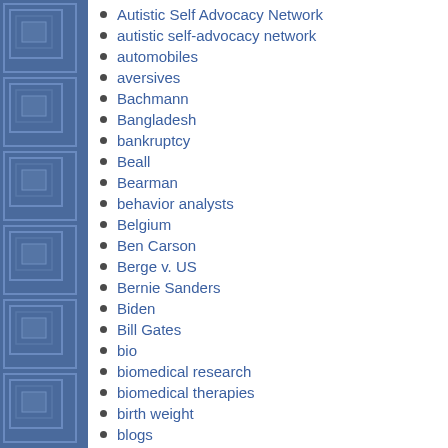[Figure (illustration): Blue decorative sidebar with geometric square/rectangle pattern in varying shades of blue]
Autistic Self Advocacy Network
autistic self-advocacy network
automobiles
aversives
Bachmann
Bangladesh
bankruptcy
Beall
Bearman
behavior analysts
Belgium
Ben Carson
Berge v. US
Bernie Sanders
Biden
Bill Gates
bio
biomedical research
biomedical therapies
birth weight
blogs
bolting